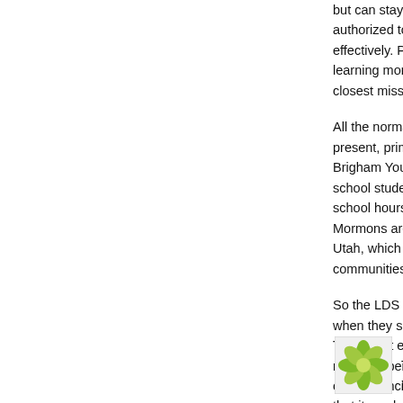but can stay in touch with their parents when they are authorized to use cell phones so they can communicate effectively. Personal information provided to those learning more about the LDS Church is referred to the closest missionaries who can go and personally visit.
All the normal computer applications in a church are present, primarily at church headquarters, BYU, and Brigham Young University and the education system for school students that is offered for an hour before school hours. BYU itself is a center of computer tech. Mormons are employed in various computer firms in Utah, which is by some measures one of the tech hub communities in the US.
So the LDS church emphasizes technology, especially when they serve the purpose of involving the members. They don't even use a video system to have a church nursery operated during adult Sunday School. It is based on the principle that the church system should be so that it can be replicated and operated everywhere in the world. The rest is the principle that giving service is the way of fulfilling Christ's commandment to.
Posted by: Raymond Takashi Swenson | Sept
[Figure (illustration): Green flower/leaf logo avatar icon]
Thanks for setting me straight Ken DV. I will embrace any technology that impro...